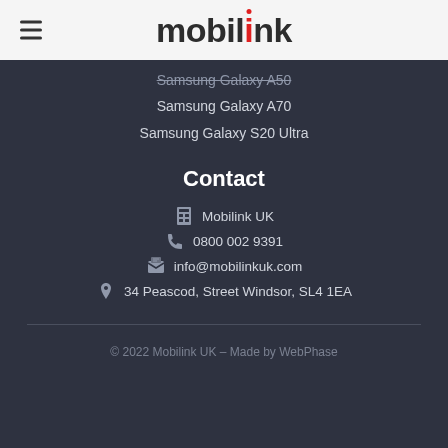mobilink
Samsung Galaxy A50
Samsung Galaxy A70
Samsung Galaxy S20 Ultra
Contact
Mobilink UK
0800 002 9391
info@mobilinkuk.com
34 Peascod, Street Windsor, SL4 1EA
© 2022 Mobilink UK – Made by WebPhase